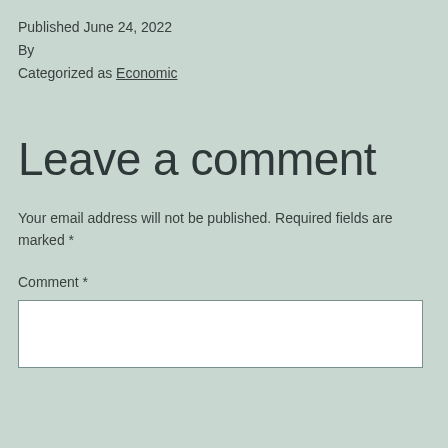Published June 24, 2022
By
Categorized as Economic
Leave a comment
Your email address will not be published. Required fields are marked *
Comment *